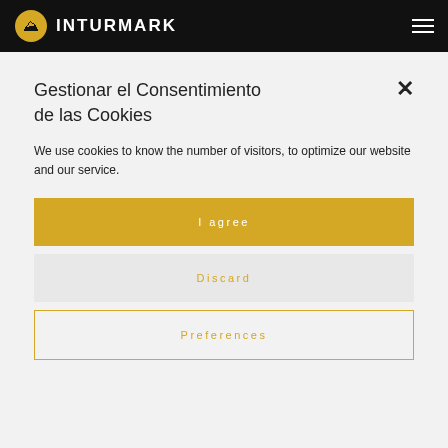INTURMARK
Gestionar el Consentimiento de las Cookies
We use cookies to know the number of visitors, to optimize our website and our service.
I agree
Discard
Preferences
We are collaborating hotels with the CanfrancCanfranc.